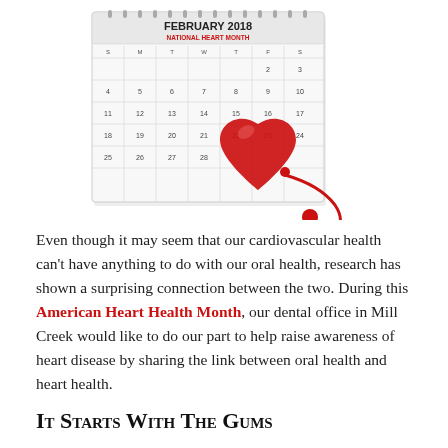[Figure (photo): A February 2018 National Heart Month calendar with a red heart and stethoscope prop in front of it.]
Even though it may seem that our cardiovascular health can't have anything to do with our oral health, research has shown a surprising connection between the two. During this American Heart Health Month, our dental office in Mill Creek would like to do our part to help raise awareness of heart disease by sharing the link between oral health and heart health.
It Starts With The Gums